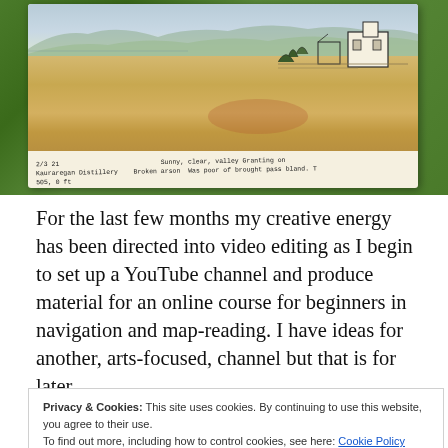[Figure (photo): A hand-held open sketchbook showing a landscape watercolor/ink sketch of a ruined or old building on a hillside with mountains and water in the background. Handwritten notes are visible at the bottom of the sketch page including date '2/3/21' and location 'Kauraregan Distillery 505, 0 ft' and weather notes 'Sunny, clear, valley Granting on']
For the last few months my creative energy has been directed into video editing as I begin to set up a YouTube channel and produce material for an online course for beginners in navigation and map-reading. I have ideas for another, arts-focused, channel but that is for later.
Privacy & Cookies: This site uses cookies. By continuing to use this website, you agree to their use.
To find out more, including how to control cookies, see here: Cookie Policy
fresh, bright air and make a small sketch of the ruined